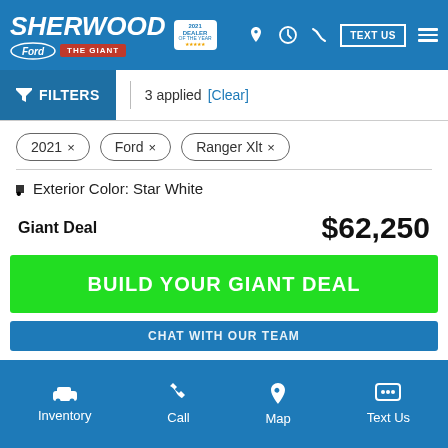Sherwood Ford - The Giant | 2021 Dealer of the Year | TEXT US
FILTERS | 3 applied [Clear]
2021 ×
Ford ×
Ranger Xlt ×
Exterior Color: Star White
Giant Deal   $62,250
BUILD YOUR GIANT DEAL
CHAT WITH OUR TEAM
Inventory | Call | Map | Text Us